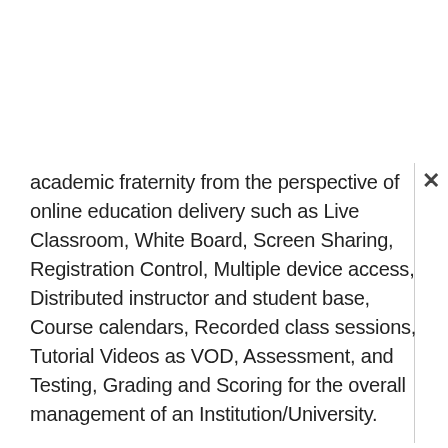academic fraternity from the perspective of online education delivery such as Live Classroom, White Board, Screen Sharing, Registration Control, Multiple device access, Distributed instructor and student base, Course calendars, Recorded class sessions, Tutorial Videos as VOD, Assessment, and Testing, Grading and Scoring for the overall management of an Institution/University.